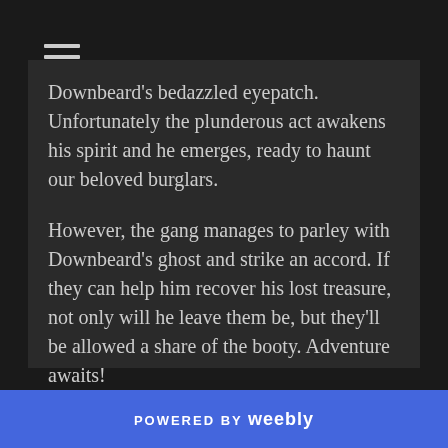[Figure (other): Hamburger menu icon (three horizontal lines) in top-left corner]
Downbeard's bedazzled eyepatch. Unfortunately the plunderous act awakens his spirit and he emerges, ready to haunt our beloved burglars.

However, the gang manages to parley with Downbeard's ghost and strike an accord. If they can help him recover his lost treasure, not only will he leave them be, but they'll be allowed a share of the booty. Adventure awaits!
POWERED BY weebly